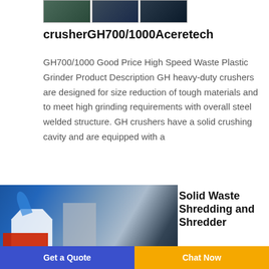[Figure (photo): Three industrial crusher/grinder images shown in a horizontal strip at the top of the page]
crusherGH700/1000Aceretech
GH700/1000 Good Price High Speed Waste Plastic Grinder Product Description GH heavy-duty crushers are designed for size reduction of tough materials and to meet high grinding requirements with overall steel welded structure. GH crushers have a solid crushing cavity and are equipped with a
[Figure (photo): Industrial solid waste shredding machine in a factory setting, with blue equipment, worker, and red base visible]
Solid Waste Shredding and Shredder
Get a Quote   Chat Now